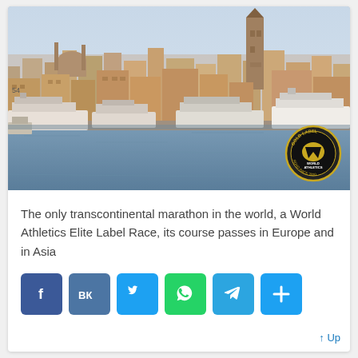[Figure (photo): Istanbul cityscape viewed from the water, showing the Galata Tower rising above densely packed historic buildings along the waterfront. Multiple ferries and boats are docked at the shore. A World Athletics Gold Label Road Race badge appears in the bottom right corner of the photo.]
The only transcontinental marathon in the world, a World Athletics Elite Label Race, its course passes in Europe and in Asia
[Figure (infographic): Social media sharing buttons: Facebook (f), VK (VK), Twitter (bird icon), WhatsApp (phone icon), Telegram (paper plane icon), and a plus/share button]